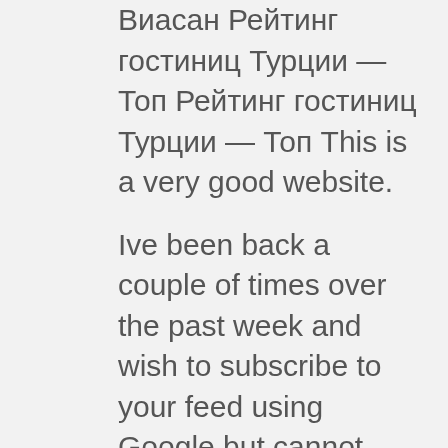Виасан Рейтинг гостиниц Турции — Топ Рейтинг гостиниц Турции — Топ This is a very good website.
Ive been back a couple of times over the past week and wish to subscribe to your feed using Google but cannot learn the right way to do it very well. Do you know of any tutorials? Отдых в Доминикане: курорты, экскурсии, климат, цены, кухня Рейтинг гостиниц Турции — Топ Hey just wanted to give you a quick heads up.
The words in your content seem to be running off the